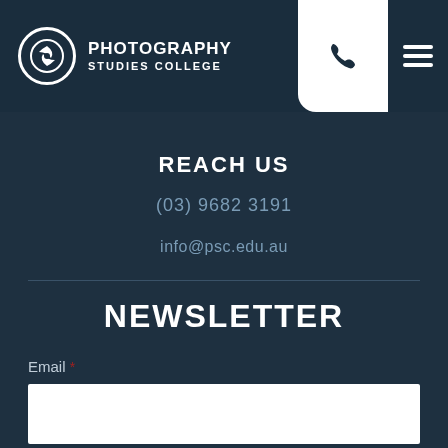Photography Studies College
REACH US
(03) 9682 3191
info@psc.edu.au
NEWSLETTER
Email *